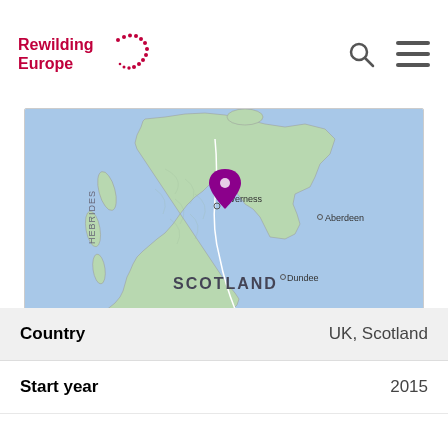Rewilding Europe
[Figure (map): Google map showing Scotland, UK, with a purple location pin near Inverness. Cities labeled: Inverness, Aberdeen, Dundee, Edinburgh, Glasgow, with SCOTLAND and HEBRIDES text. Google logo and 'Map data ©2022' watermark visible.]
| Field | Value |
| --- | --- |
| Country | UK, Scotland |
| Start year | 2015 |